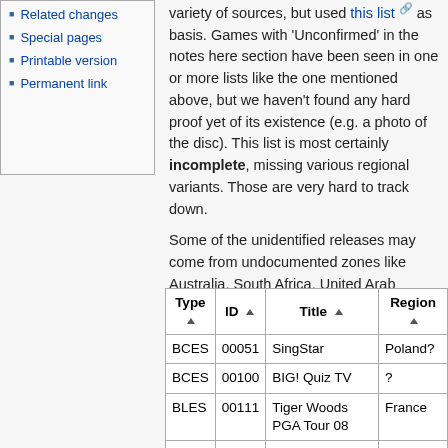Related changes
Special pages
Printable version
Permanent link
variety of sources, but used this list as basis. Games with 'Unconfirmed' in the notes here section have been seen in one or more lists like the one mentioned above, but we haven't found any hard proof yet of its existence (e.g. a photo of the disc). This list is most certainly incomplete, missing various regional variants. Those are very hard to track down.
Some of the unidentified releases may come from undocumented zones like Australia, South Africa, United Arab Emirates and India. Other common PAL countries with unidentified regional releases can be Greece, Poland, Russia, Czech...
| Type | ID | Title | Region |
| --- | --- | --- | --- |
| BCES | 00051 | SingStar | Poland? |
| BCES | 00100 | BIG! Quiz TV | ? |
| BLES | 00111 | Tiger Woods PGA Tour 08 | France |
|  |  | Call of Duty 4: |  |